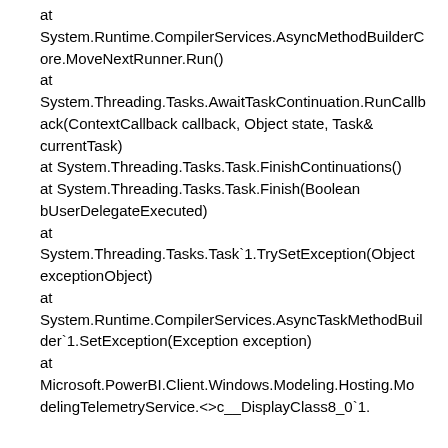at System.Runtime.CompilerServices.AsyncMethodBuilderCore.MoveNextRunner.Run()
at System.Threading.Tasks.AwaitTaskContinuation.RunCallback(ContextCallback callback, Object state, Task& currentTask)
at System.Threading.Tasks.Task.FinishContinuations()
at System.Threading.Tasks.Task.Finish(Boolean bUserDelegateExecuted)
at System.Threading.Tasks.Task`1.TrySetException(Object exceptionObject)
at System.Runtime.CompilerServices.AsyncTaskMethodBuilder`1.SetException(Exception exception)
at Microsoft.PowerBI.Client.Windows.Modeling.Hosting.ModelingTelemetryService.<>c__DisplayClass8_0`1.